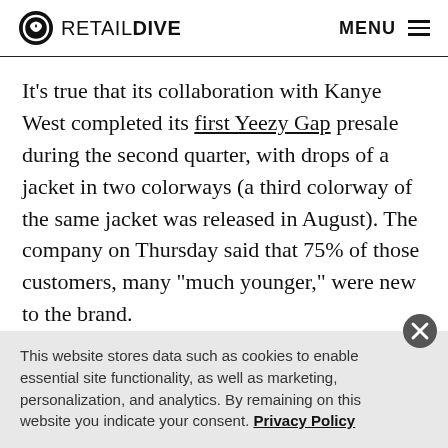RETAIL DIVE | MENU
It’s true that its collaboration with Kanye West completed its first Yeezy Gap presale during the second quarter, with drops of a jacket in two colorways (a third colorway of the same jacket was released in August). The company on Thursday said that 75% of those customers, many “much younger,” were new to the brand.
When asked to share more on the company’s plans for the
This website stores data such as cookies to enable essential site functionality, as well as marketing, personalization, and analytics. By remaining on this website you indicate your consent. Privacy Policy